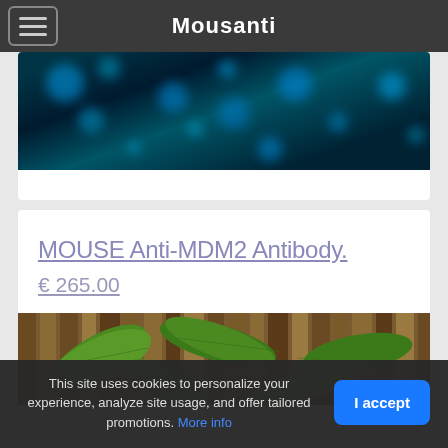Mousanti
[Figure (photo): Dark background with blue bokeh/fluorescent dots, likely a microscopy or cell imaging photo]
MOUSE Anti-MDM2 Antibody.
€ 265.00
[Figure (photo): Green plant leaves against a wooden/bamboo background]
This site uses cookies to personalize your experience, analyze site usage, and offer tailored promotions. More info
I accept